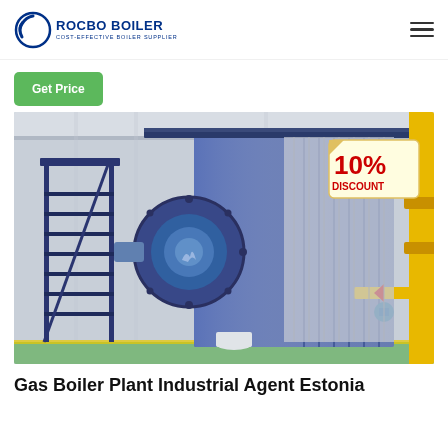ROCBO BOILER - COST-EFFECTIVE BOILER SUPPLIER
Get Price
[Figure (photo): Industrial gas boiler plant showing a large blue boiler unit with staircase access on the left side and yellow gas piping on the right. A '10% DISCOUNT' badge is visible in the upper right corner of the image.]
Gas Boiler Plant Industrial Agent Estonia